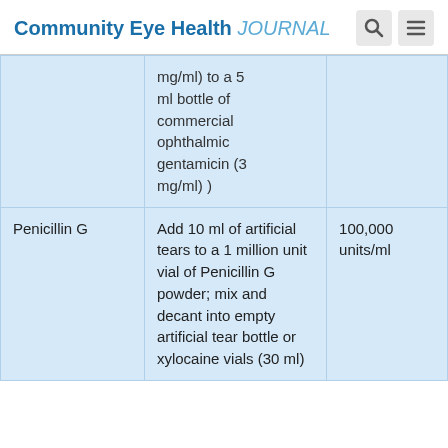Community Eye Health JOURNAL
|  | mg/ml) to a 5 ml bottle of commercial ophthalmic gentamicin (3 mg/ml) ) |  |
| Penicillin G | Add 10 ml of artificial tears to a 1 million unit vial of Penicillin G powder; mix and decant into empty artificial tear bottle or xylocaine vials (30 ml) | 100,000 units/ml |